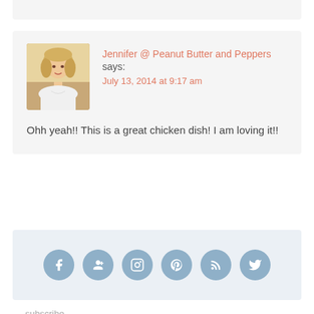Jennifer @ Peanut Butter and Peppers says:
July 13, 2014 at 9:17 am
Ohh yeah!! This is a great chicken dish! I am loving it!!
[Figure (other): Row of 6 social media icon buttons (Facebook, Google+, Instagram, Pinterest, RSS, Twitter) as circular blue-grey icons]
subscribe